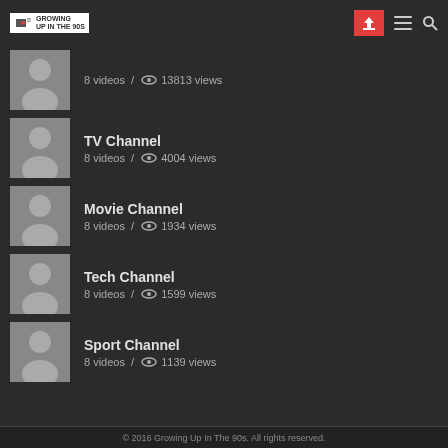Growing Up In The 90s — navigation header with logo, upload button, menu, search
8 videos / 13813 views
TV Channel
8 videos / 4004 views
Movie Channel
8 videos / 1934 views
Tech Channel
8 videos / 1599 views
Sport Channel
8 videos / 1139 views
© 2016 Growing Up In The 90s. All rights reserved.